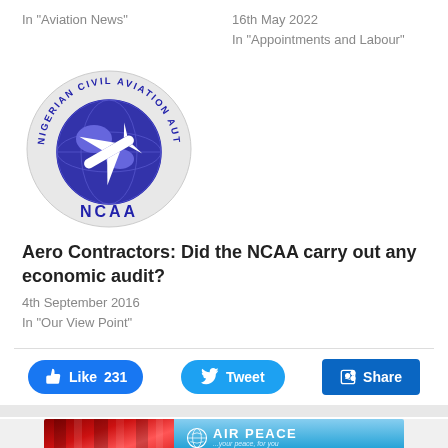In "Aviation News"
16th May 2022
In "Appointments and Labour"
[Figure (logo): Nigerian Civil Aviation Authority (NCAA) circular logo with globe and aircraft, blue and white on light grey oval background]
Aero Contractors: Did the NCAA carry out any economic audit?
4th September 2016
In "Our View Point"
[Figure (infographic): Social sharing buttons: Like 231 (Facebook blue), Tweet (Twitter blue), Share (LinkedIn blue)]
[Figure (photo): Air Peace advertisement banner with red curtain on left and blue sky background on right showing Air Peace logo and text JOHANNESBURG]